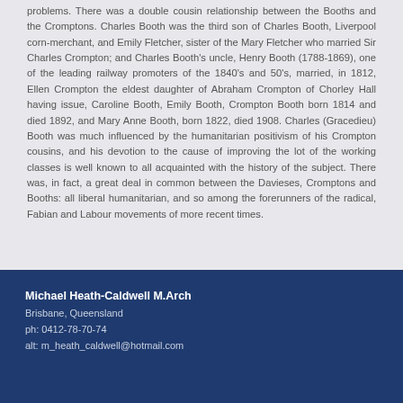problems. There was a double cousin relationship between the Booths and the Cromptons. Charles Booth was the third son of Charles Booth, Liverpool corn-merchant, and Emily Fletcher, sister of the Mary Fletcher who married Sir Charles Crompton; and Charles Booth's uncle, Henry Booth (1788-1869), one of the leading railway promoters of the 1840's and 50's, married, in 1812, Ellen Crompton the eldest daughter of Abraham Crompton of Chorley Hall having issue, Caroline Booth, Emily Booth, Crompton Booth born 1814 and died 1892, and Mary Anne Booth, born 1822, died 1908. Charles (Gracedieu) Booth was much influenced by the humanitarian positivism of his Crompton cousins, and his devotion to the cause of improving the lot of the working classes is well known to all acquainted with the history of the subject. There was, in fact, a great deal in common between the Davieses, Cromptons and Booths: all liberal humanitarian, and so among the forerunners of the radical, Fabian and Labour movements of more recent times.
Michael Heath-Caldwell M.Arch
Brisbane, Queensland
ph: 0412-78-70-74
alt: m_heath_caldwell@hotmail.com